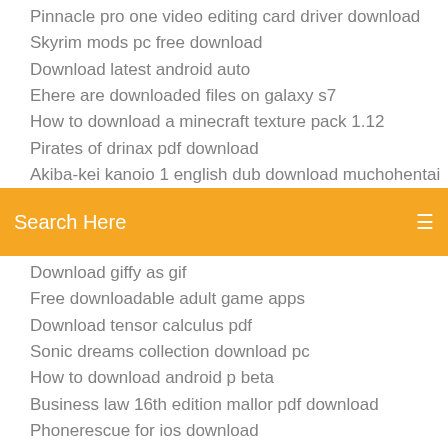Pinnacle pro one video editing card driver download
Skyrim mods pc free download
Download latest android auto
Ehere are downloaded files on galaxy s7
How to download a minecraft texture pack 1.12
Pirates of drinax pdf download
Akiba-kei kanoio 1 english dub download muchohentai
[Figure (screenshot): Orange search bar with 'Search Here' placeholder text and a menu icon on the right]
Download giffy as gif
Free downloadable adult game apps
Download tensor calculus pdf
Sonic dreams collection download pc
How to download android p beta
Business law 16th edition mallor pdf download
Phonerescue for ios download
Huion driver download win.dll
Download brother mfc-j5830dw driver
Asme a17.1 pdf free download